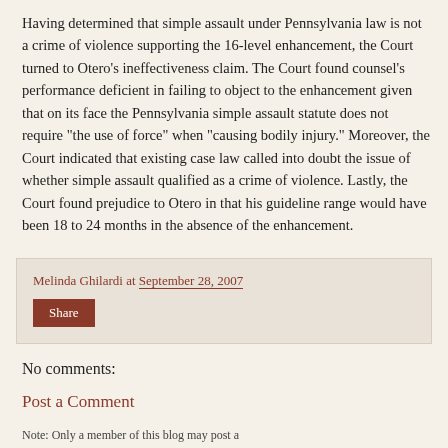Having determined that simple assault under Pennsylvania law is not a crime of violence supporting the 16-level enhancement, the Court turned to Otero's ineffectiveness claim. The Court found counsel's performance deficient in failing to object to the enhancement given that on its face the Pennsylvania simple assault statute does not require "the use of force" when "causing bodily injury." Moreover, the Court indicated that existing case law called into doubt the issue of whether simple assault qualified as a crime of violence. Lastly, the Court found prejudice to Otero in that his guideline range would have been 18 to 24 months in the absence of the enhancement.
Melinda Ghilardi at September 28, 2007
Share
No comments:
Post a Comment
Note: Only a member of this blog may post a